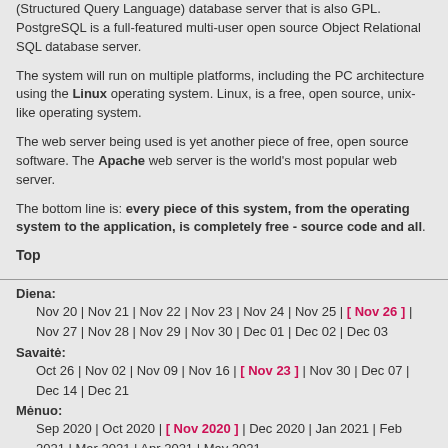(Structured Query Language) database server that is also GPL. PostgreSQL is a full-featured multi-user open source Object Relational SQL database server.
The system will run on multiple platforms, including the PC architecture using the Linux operating system. Linux, is a free, open source, unix-like operating system.
The web server being used is yet another piece of free, open source software. The Apache web server is the world's most popular web server.
The bottom line is: every piece of this system, from the operating system to the application, is completely free - source code and all.
Top
Diena: Nov 20 | Nov 21 | Nov 22 | Nov 23 | Nov 24 | Nov 25 | [ Nov 26 ] | Nov 27 | Nov 28 | Nov 29 | Nov 30 | Dec 01 | Dec 02 | Dec 03
Savaitė: Oct 26 | Nov 02 | Nov 09 | Nov 16 | [ Nov 23 ] | Nov 30 | Dec 07 | Dec 14 | Dec 21
Mėnuo: Sep 2020 | Oct 2020 | [ Nov 2020 ] | Dec 2020 | Jan 2021 | Feb 2021 | Mar 2021 | Apr 2021 | May 2021